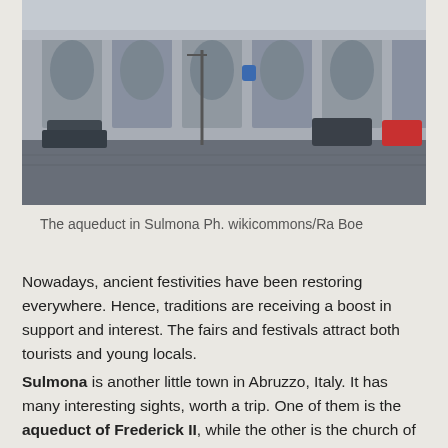[Figure (photo): Photograph of the aqueduct in Sulmona, showing stone arches and a cobblestone square with parked cars]
The aqueduct in Sulmona Ph. wikicommons/Ra Boe
Nowadays, ancient festivities have been restoring everywhere. Hence, traditions are receiving a boost in support and interest. The fairs and festivals attract both tourists and young locals.
Sulmona is another little town in Abruzzo, Italy. It has many interesting sights, worth a trip. One of them is the aqueduct of Frederick II, while the other is the church of SS Annunziata. Furthermore, the city features the medieval Porta Napoli at the city's exit. During the Middle